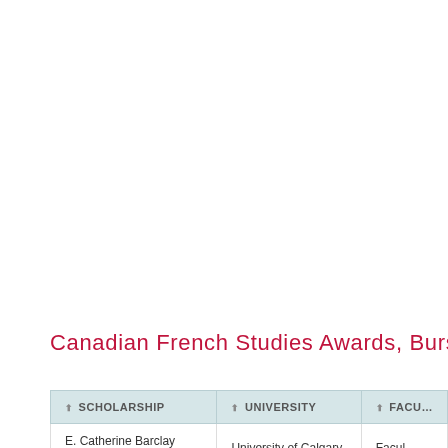Canadian French Studies Awards, Bursaries, Prizes
| SCHOLARSHIP | UNIVERSITY | FACULTY |
| --- | --- | --- |
| E. Catherine Barclay Scholarship | University of Calgary | Facul… |